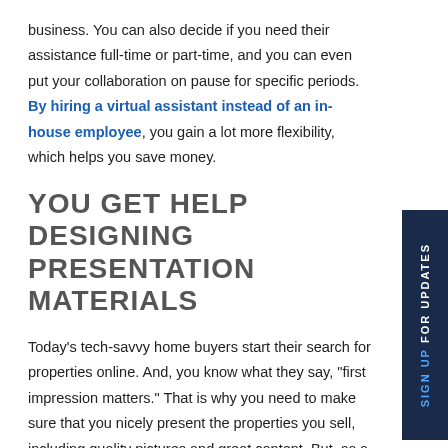business. You can also decide if you need their assistance full-time or part-time, and you can even put your collaboration on pause for specific periods. By hiring a virtual assistant instead of an in-house employee, you gain a lot more flexibility, which helps you save money.
YOU GET HELP DESIGNING PRESENTATION MATERIALS
Today's tech-savvy home buyers start their search for properties online. And, you know what they say, "first impression matters." That is why you need to make sure that you nicely present the properties you sell, including quality pictures and great content. But, as a busy realtor, you may not have the time to edit the photos of the properties you sell or to write compelling descriptions of the properties that will attract